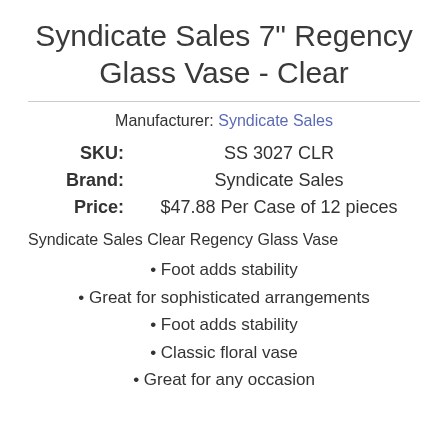Syndicate Sales 7" Regency Glass Vase - Clear
Manufacturer: Syndicate Sales
| Field | Value |
| --- | --- |
| SKU: | SS 3027 CLR |
| Brand: | Syndicate Sales |
| Price: | $47.88 Per Case of 12 pieces |
Syndicate Sales Clear Regency Glass Vase
Foot adds stability
Great for sophisticated arrangements
Foot adds stability
Classic floral vase
Great for any occasion